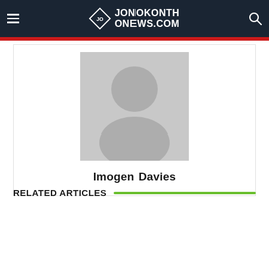JONOKONTHONEWS.COM
[Figure (illustration): Default avatar/profile placeholder image showing a generic person silhouette in gray]
Imogen Davies
RELATED ARTICLES